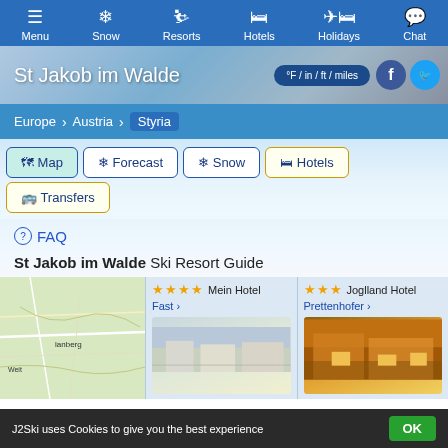Menu  Snow  Resorts  Hotels  Holidays  Chat
St Jakob im Walde
°F / in / ft / miles
Europe > Austria > Styria
Map  Forecast  Snow  Hotels  Transfers
FAQ
St Jakob im Walde Ski Resort Guide
[Figure (map): Map showing St Jakob im Walde area with nearby towns]
Mein Hotel Fast
Joglland Hotel Prettenhofer
J2Ski uses Cookies to give you the best experience  OK